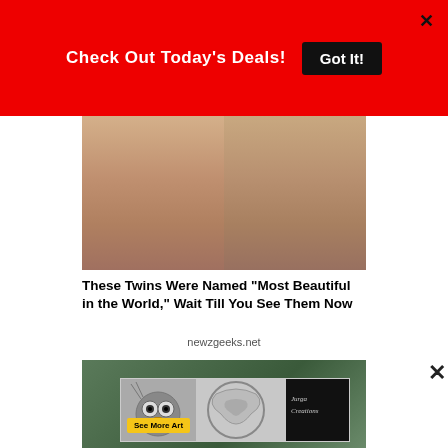[Figure (screenshot): Red promotional banner with text 'Check Out Today's Deals!' and a 'Got It!' button, with an X close button in the top right]
[Figure (photo): Two young girls (twins) with striking blue/green eyes and tan skin posed together, faces close, looking at camera]
These Twins Were Named "Most Beautiful in the World," Wait Till You See Them Now
newzgeeks.net
[Figure (photo): Partially visible photo of a person outdoors with green background, overlaid with an advertisement for Jurga Creations featuring pencil artwork of an owl and a lion-like face]
[Figure (illustration): Advertisement banner for Jurga Creations showing detailed pencil drawings of an owl and a lion with foliage, with 'See More Art' button and Jurga Creations logo]